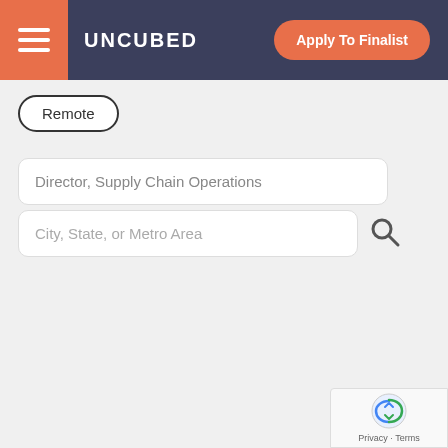UNCUBED | Apply To Finalist
Remote
Director, Supply Chain Operations
City, State, or Metro Area
Technical Program Manager - Supply Chain - 4376676
Accenture - Multiple Locations, USA Basic Qualifications:High School Diploma or GEDMinimum 3 years of experience in planning, schedule development, and execution trackingMinimum 3 yea...